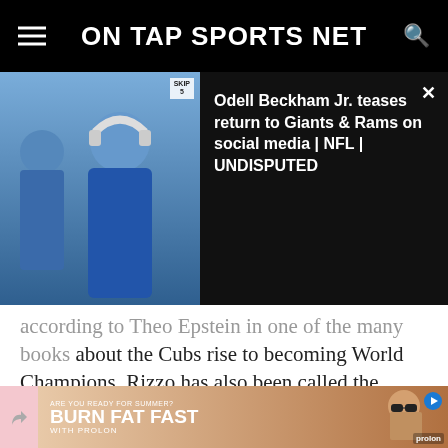ON TAP SPORTS NET
[Figure (photo): Video overlay panel showing Odell Beckham Jr. with headphones in blue jersey, alongside text about a video titled 'Odell Beckham Jr. teases return to Giants & Rams on social media | NFL | UNDISPUTED']
according to Theo Epstein in one of the many books about the Cubs rise to becoming World Champions. Rizzo has also been called the “Main Ingredient” by manager Joe Maddon in the “omelette” that is the team. Without a doubt, Rizzo is the leader of the Cubs.
[Figure (photo): Advertisement banner: ARE YOU READY FOR SUMMER? BURN FAT FAST WITH PROLON, showing a woman with sunglasses]